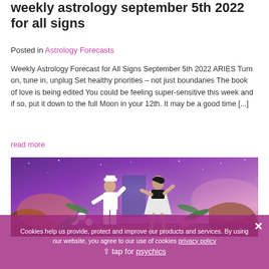weekly astrology september 5th 2022 for all signs
Posted in Astrology Forecasts
Weekly Astrology Forecast for All Signs September 5th 2022 ARIES Turn on, tune in, unplug Set healthy priorities – not just boundaries The book of love is being edited You could be feeling super-sensitive this week and if so, put it down to the full Moon in your 12th. It may be a good time [...]
read more
[Figure (photo): A colorful collage image showing two figures dancing (dressed in vintage/retro style — one in white sailor outfit, one in a dress) against a vibrant purple cosmic/galaxy background with tropical flowers and rocky landscape elements.]
Cookies help us provide, protect and improve our products and services. By using our website, you agree to our use of cookies privacy policy
tap for psychics